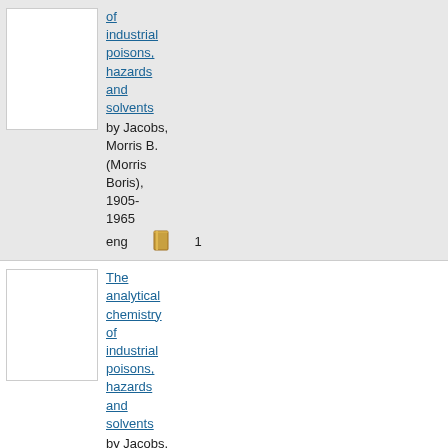[Figure (other): Book thumbnail placeholder (white rectangle) for first entry]
of industrial poisons, hazards and solvents by Jacobs, Morris B. (Morris Boris), 1905-1965
[Figure (other): Book thumbnail placeholder (white rectangle) for second entry]
The analytical chemistry of industrial poisons, hazards and solvents by Jacobs, Morris B. (Morris Boris),